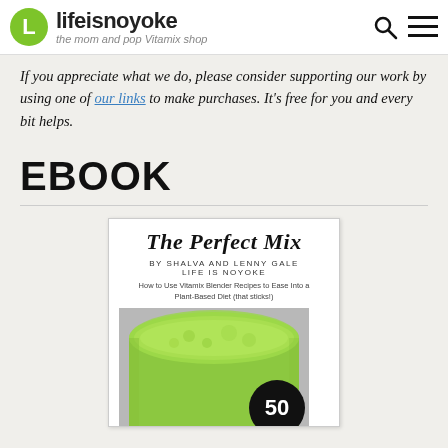lifeisnoyoke — the mom and pop Vitamix shop
If you appreciate what we do, please consider supporting our work by using one of our links to make purchases. It's free for you and every bit helps.
EBOOK
[Figure (illustration): Book cover of 'The Perfect Mix' by Shalva and Lenny Gale, Life Is Noyoke. Subtitle: How to Use Vitamix Blender Recipes to Ease Into a Plant-Based Diet (that sticks!). Cover shows a green smoothie in a glass viewed from above, with a black circular badge showing '50' at the bottom.]